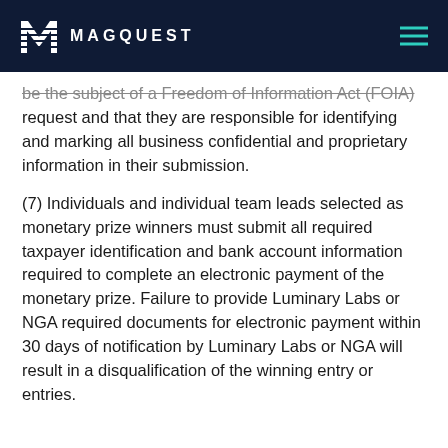MAGQUEST
be the subject of a Freedom of Information Act (FOIA) request and that they are responsible for identifying and marking all business confidential and proprietary information in their submission.
(7) Individuals and individual team leads selected as monetary prize winners must submit all required taxpayer identification and bank account information required to complete an electronic payment of the monetary prize. Failure to provide Luminary Labs or NGA required documents for electronic payment within 30 days of notification by Luminary Labs or NGA will result in a disqualification of the winning entry or entries.